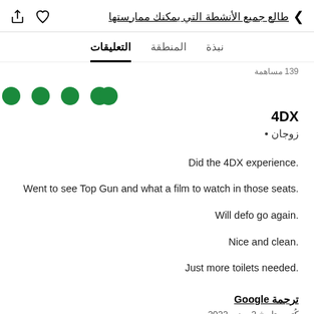طالع جميع الأنشطة التي يمكنك ممارستها
نبذة  المنطقة  التعليقات
139 مساهمة
[Figure (other): Five green circles representing a 5-dot rating]
4DX
زوجان
Did the 4DX experience.
Went to see Top Gun and what a film to watch in those seats.
Will defo go again.
Nice and clean.
Just more toilets needed.
ترجمة Google
كُتب بتاريخ 2 يونيو 2022